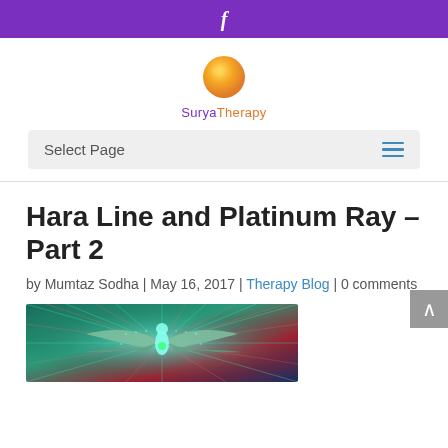f
[Figure (logo): Surya Therapy logo: orange gradient circle above text 'Surya Therapy' in purple and orange]
Select Page
Hara Line and Platinum Ray – Part 2
by Mumtaz Sodha | May 16, 2017 | Therapy Blog | 0 comments
[Figure (photo): Colorful spiritual artwork showing a winged figure with radiating light patterns in green, red, and teal]